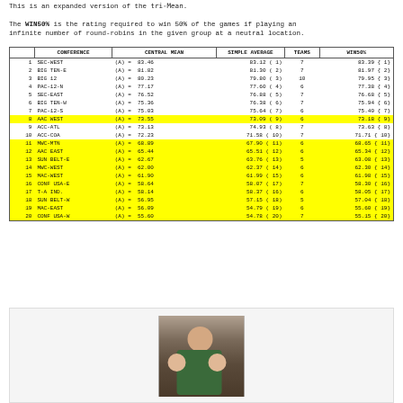This is an expanded version of the `tri-Mean`. The WIN50% is the rating required to win 50% of the games if playing an infinite number of round-robins in the given group at a neutral location.
|  | CONFERENCE | CENTRAL MEAN | SIMPLE AVERAGE | TEAMS | WIN50% |
| --- | --- | --- | --- | --- | --- |
| 1 | SEC-WEST | (A) = 83.46 | 83.12 ( 1) | 7 | 83.39 { 1} |
| 2 | BIG TEN-E | (A) = 81.82 | 81.30 ( 2) | 7 | 81.97 { 2} |
| 3 | BIG 12 | (A) = 80.23 | 79.80 ( 3) | 10 | 79.95 { 3} |
| 4 | PAC-12-N | (A) = 77.17 | 77.60 ( 4) | 6 | 77.38 { 4} |
| 5 | SEC-EAST | (A) = 76.52 | 76.88 ( 5) | 7 | 76.68 { 5} |
| 6 | BIG TEN-W | (A) = 75.36 | 76.38 ( 6) | 7 | 75.94 { 6} |
| 7 | PAC-12-S | (A) = 75.03 | 75.64 ( 7) | 6 | 75.40 { 7} |
| 8 | AAC WEST | (A) = 73.55 | 73.09 ( 9) | 6 | 73.18 { 9} |
| 9 | ACC-ATL | (A) = 73.13 | 74.93 ( 8) | 7 | 73.63 { 8} |
| 10 | ACC-COA | (A) = 72.23 | 71.58 ( 10) | 7 | 71.71 { 10} |
| 11 | MWC-MTN | (A) = 68.89 | 67.90 ( 11) | 6 | 68.65 { 11} |
| 12 | AAC EAST | (A) = 65.44 | 65.51 ( 12) | 6 | 65.34 { 12} |
| 13 | SUN BELT-E | (A) = 62.67 | 63.76 ( 13) | 5 | 63.08 { 13} |
| 14 | MWC-WEST | (A) = 62.00 | 62.37 ( 14) | 6 | 62.30 { 14} |
| 15 | MAC-WEST | (A) = 61.90 | 61.99 ( 15) | 6 | 61.98 { 15} |
| 16 | CONF USA-E | (A) = 58.64 | 58.07 ( 17) | 7 | 58.30 { 16} |
| 17 | T-A IND. | (A) = 58.14 | 58.37 ( 16) | 6 | 58.05 { 17} |
| 18 | SUN BELT-W | (A) = 56.95 | 57.15 ( 18) | 5 | 57.04 { 18} |
| 19 | MAC-EAST | (A) = 56.09 | 54.79 ( 19) | 6 | 55.60 { 19} |
| 20 | CONF USA-W | (A) = 55.60 | 54.78 ( 20) | 7 | 55.15 { 20} |
[Figure (photo): A person with two children seated at a table, wearing green shirts.]